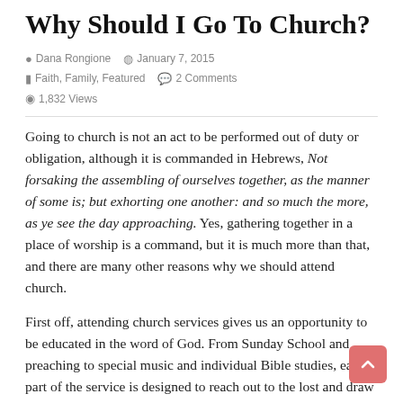Why Should I Go To Church?
Dana Rongione   January 7, 2015   Faith, Family, Featured   2 Comments   1,832 Views
Going to church is not an act to be performed out of duty or obligation, although it is commanded in Hebrews, Not forsaking the assembling of ourselves together, as the manner of some is; but exhorting one another: and so much the more, as ye see the day approaching. Yes, gathering together in a place of worship is a command, but it is much more than that, and there are many other reasons why we should attend church.
First off, attending church services gives us an opportunity to be educated in the word of God. From Sunday School and preaching to special music and individual Bible studies, each part of the service is designed to reach out to the lost and draw believers closer to God, thus fulfilling II Timothy 3:15. Study...